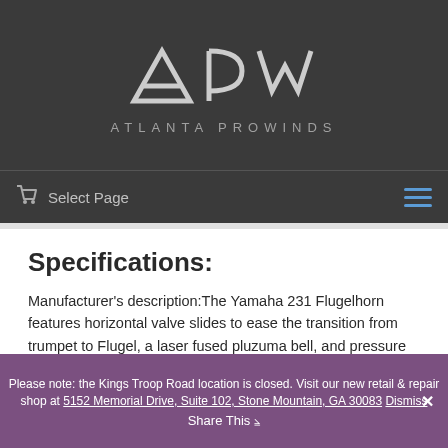[Figure (logo): APW Atlanta ProWinds logo with stylized letters A, P, W and subtitle 'ATLANTA PROWINDS' on dark background]
Select Page
Specifications:
Manufacturer's description:The Yamaha 231 Flugelhorn features horizontal valve slides to ease the transition from trumpet to Flugel, a laser fused pluzuma bell, and pressure formed tubing to allow for smoother air flow.
Price is $800.00. Offers considered.
Please note: the Kings Troop Road location is closed. Visit our new retail & repair shop at 5152 Memorial Drive, Suite 102, Stone Mountain, GA 30083 Dismiss  Share This  ✕